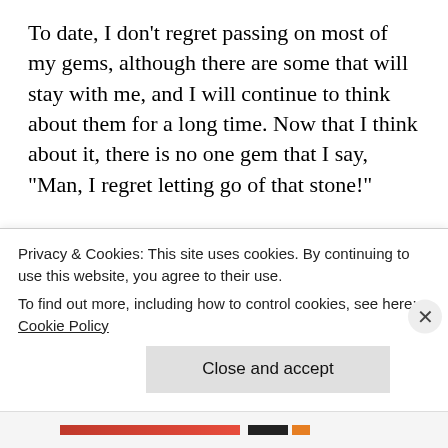To date, I don't regret passing on most of my gems, although there are some that will stay with me, and I will continue to think about them for a long time. Now that I think about it, there is no one gem that I say, "Man, I regret letting go of that stone!"
If anything, I regret certain settings for some stones, and often take big hits there. I've learned over the years to let a gem tell me how it wants to be set, which sounds kind of corny and New-Agey, but I can't figure out a better way to express how I feel. I...
Privacy & Cookies: This site uses cookies. By continuing to use this website, you agree to their use. To find out more, including how to control cookies, see here: Cookie Policy
Close and accept